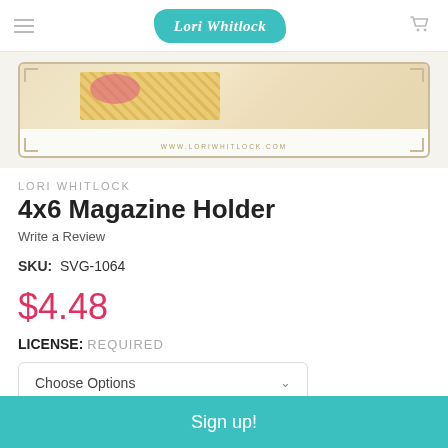Lori Whitlock
[Figure (photo): Product image of 4x6 Magazine Holder with decorative pattern, shown inside a tan-bordered frame with watermark www.loriwhitlock.com]
LORI WHITLOCK
4x6 Magazine Holder
Write a Review
SKU: SVG-1064
$4.48
LICENSE: REQUIRED
Choose Options
Sign up!